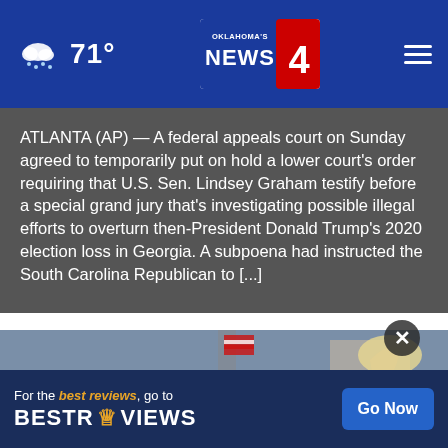Oklahoma's News 4 — 71° weather header with logo and hamburger menu
ATLANTA (AP) — A federal appeals court on Sunday agreed to temporarily put on hold a lower court's order requiring that U.S. Sen. Lindsey Graham testify before a special grand jury that's investigating possible illegal efforts to overturn then-President Donald Trump's 2020 election loss in Georgia. A subpoena had instructed the South Carolina Republican to [...]
[Figure (photo): Outdoor rally scene with people raising hands; an American flag visible in background; blurred cars and urban setting]
[Figure (other): BestReviews advertisement banner: 'For the best reviews, go to BESTREVIEWS' with a 'Go Now' button]